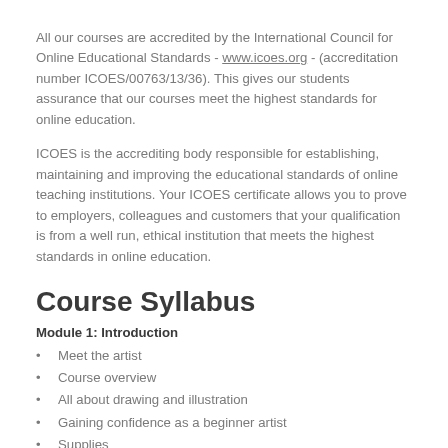All our courses are accredited by the International Council for Online Educational Standards - www.icoes.org - (accreditation number ICOES/00763/13/36). This gives our students assurance that our courses meet the highest standards for online education.
ICOES is the accrediting body responsible for establishing, maintaining and improving the educational standards of online teaching institutions. Your ICOES certificate allows you to prove to employers, colleagues and customers that your qualification is from a well run, ethical institution that meets the highest standards in online education.
Course Syllabus
Module 1: Introduction
Meet the artist
Course overview
All about drawing and illustration
Gaining confidence as a beginner artist
Supplies
Module 2: Fundamentals Of Drawing